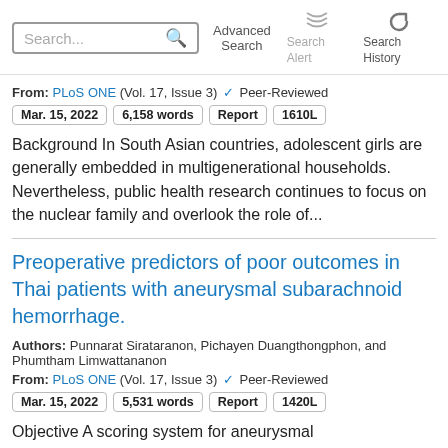Search... Advanced Search Search Alert Search History
From: PLoS ONE (Vol. 17, Issue 3) ✔ Peer-Reviewed
Mar. 15, 2022   6,158 words   Report   1610L
Background In South Asian countries, adolescent girls are generally embedded in multigenerational households. Nevertheless, public health research continues to focus on the nuclear family and overlook the role of...
Preoperative predictors of poor outcomes in Thai patients with aneurysmal subarachnoid hemorrhage.
Authors: Punnarat Sirataranon, Pichayen Duangthongphon, and Phumtham Limwattananon
From: PLoS ONE (Vol. 17, Issue 3) ✔ Peer-Reviewed
Mar. 15, 2022   5,531 words   Report   1420L
Objective A scoring system for aneurysmal